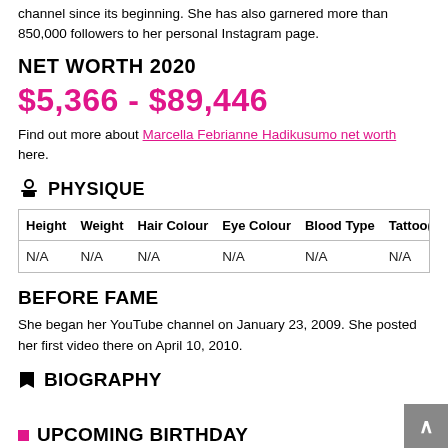channel since its beginning. She has also garnered more than 850,000 followers to her personal Instagram page.
NET WORTH 2020
$5,366 - $89,446
Find out more about Marcella Febrianne Hadikusumo net worth here.
PHYSIQUE
| Height | Weight | Hair Colour | Eye Colour | Blood Type | Tattoo(s) |
| --- | --- | --- | --- | --- | --- |
| N/A | N/A | N/A | N/A | N/A | N/A |
BEFORE FAME
She began her YouTube channel on January 23, 2009. She posted her first video there on April 10, 2010.
BIOGRAPHY
UPCOMING BIRTHDAY